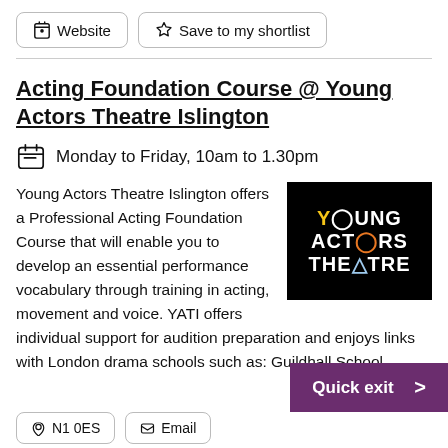Website | Save to my shortlist
Acting Foundation Course @ Young Actors Theatre Islington
Monday to Friday, 10am to 1.30pm
[Figure (logo): Young Actors Theatre logo: black background with stylized text 'YOUNG ACTORS THEATRE' with colored circular elements replacing certain letters]
Young Actors Theatre Islington offers a Professional Acting Foundation Course that will enable you to develop an essential performance vocabulary through training in acting, movement and voice. YATI offers individual support for audition preparation and enjoys links with London drama schools such as: Guildhall School
Quick exit >
N1 0ES  Email